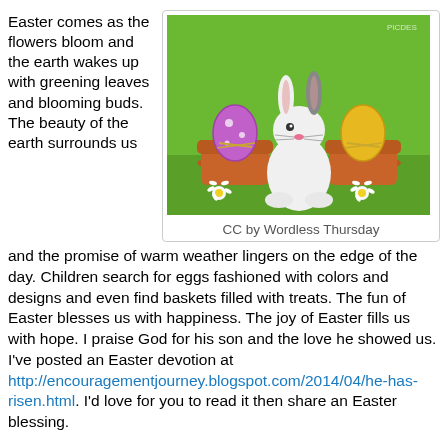Easter comes as the flowers bloom and the earth wakes up with greening leaves and blooming buds. The beauty of the earth surrounds us
[Figure (photo): A white fluffy bunny sitting between two terracotta pots, each containing a colorful Easter egg (purple and yellow) nestled in straw, with small white daisy flowers in front, set against a green grass background.]
CC by Wordless Thursday
and the promise of warm weather lingers on the edge of the day. Children search for eggs fashioned with colors and designs and even find baskets filled with treats. The fun of Easter blesses us with happiness. The joy of Easter fills us with hope. I praise God for his son and the love he showed us. I've posted an Easter devotion at http://encouragementjourney.blogspot.com/2014/04/he-has-risen.html. I'd love for you to read it then share an Easter blessing.